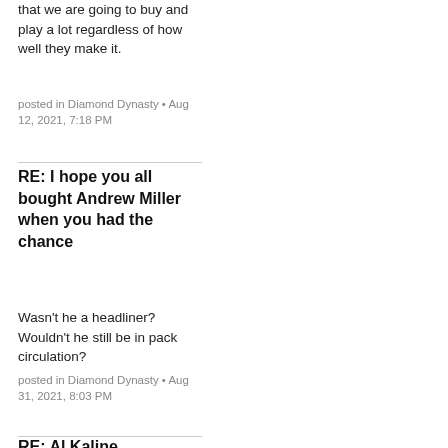that we are going to buy and play a lot regardless of how well they make it.
posted in Diamond Dynasty • Aug 12, 2021, 7:18 PM
RE: I hope you all bought Andrew Miller when you had the chance
Wasn't he a headliner? Wouldn't he still be in pack circulation?
posted in Diamond Dynasty • Aug 31, 2021, 8:03 PM
RE: Al Kaline
Franchise
I love the current program because I'm a Phillies fan but with that being said these inning programs have been horrible. Hopefully they have some amazing ones set for later in the year
posted in Diamond Dynasty • May 30, 2022, 2:03 PM
RE: Working list of cards coming Friday
@bob_loblaw1984 said in Working list of cards coming Friday:
I'd like to see a 99 for him, but it's unlikely.